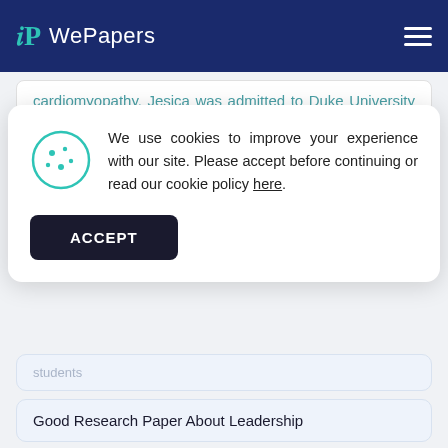WePapers
cardiomyopathy. Jesica was admitted to Duke University Hospital for a heart-lung transplant. The first transplant was carried out on February 7th, 2003. The hospital transplanted blood type A
We use cookies to improve your experience with our site. Please accept before continuing or read our cookie policy here.
students
Good Research Paper About Leadership